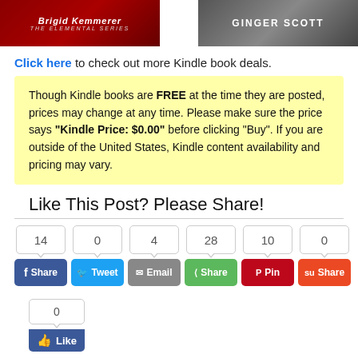[Figure (photo): Two book covers: left is a red cover for Brigid Kemmerer The Elemental Series, right is a gray cover for Ginger Scott]
Click here to check out more Kindle book deals.
Though Kindle books are FREE at the time they are posted, prices may change at any time. Please make sure the price says “Kindle Price: $0.00” before clicking “Buy”. If you are outside of the United States, Kindle content availability and pricing may vary.
Like This Post? Please Share!
[Figure (screenshot): Social share buttons showing counts: Facebook Share (14), Tweet (0), Email (4), Share (28), Pin (10), Share (0), and a Facebook Like button with count 0]
[Figure (logo): Amazon logo]